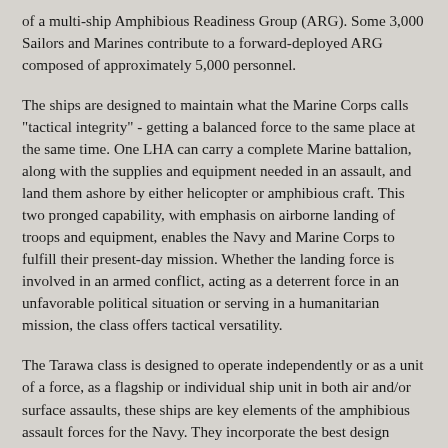of a multi-ship Amphibious Readiness Group (ARG). Some 3,000 Sailors and Marines contribute to a forward-deployed ARG composed of approximately 5,000 personnel.
The ships are designed to maintain what the Marine Corps calls "tactical integrity" - getting a balanced force to the same place at the same time. One LHA can carry a complete Marine battalion, along with the supplies and equipment needed in an assault, and land them ashore by either helicopter or amphibious craft. This two pronged capability, with emphasis on airborne landing of troops and equipment, enables the Navy and Marine Corps to fulfill their present-day mission. Whether the landing force is involved in an armed conflict, acting as a deterrent force in an unfavorable political situation or serving in a humanitarian mission, the class offers tactical versatility.
The Tarawa class is designed to operate independently or as a unit of a force, as a flagship or individual ship unit in both air and/or surface assaults, these ships are key elements of the amphibious assault forces for the Navy. They incorporate the best design features and capabilities of several amphibious assault ships currently in service: the Amphibious Assault Ship (LPH), Amphibious Transport Dock (LPD), Amphibious Cargo Ship (LKA), and Dock Landing Ship (LSD).
A capital ship, the Tarawa class can simultaneously fulfill six war...